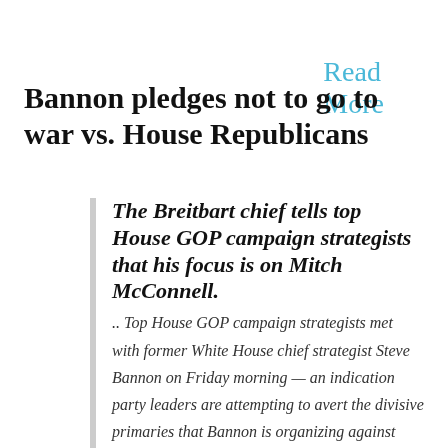Read More
Bannon pledges not to go to war vs. House Republicans
The Breitbart chief tells top House GOP campaign strategists that his focus is on Mitch McConnell. .. Top House GOP campaign strategists met with former White House chief strategist Steve Bannon on Friday morning — an indication party leaders are attempting to avert the divisive primaries that Bannon is organizing against Senate Republicans.